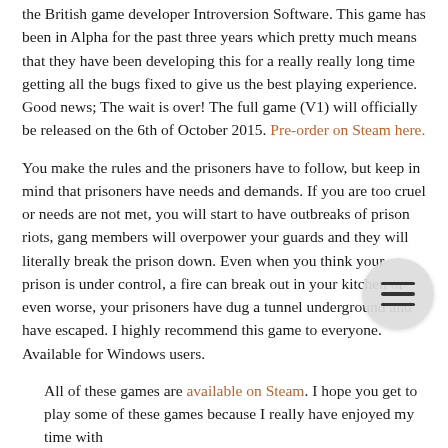the British game developer Introversion Software. This game has been in Alpha for the past three years which pretty much means that they have been developing this for a really really long time getting all the bugs fixed to give us the best playing experience. Good news; The wait is over! The full game (V1) will officially be released on the 6th of October 2015. Pre-order on Steam here.
You make the rules and the prisoners have to follow, but keep in mind that prisoners have needs and demands. If you are too cruel or needs are not met, you will start to have outbreaks of prison riots, gang members will overpower your guards and they will literally break the prison down. Even when you think your prison is under control, a fire can break out in your kitchen or even worse, your prisoners have dug a tunnel underground and have escaped. I highly recommend this game to everyone. Available for Windows users.
All of these games are available on Steam. I hope you get to play some of these games because I really have enjoyed my time with